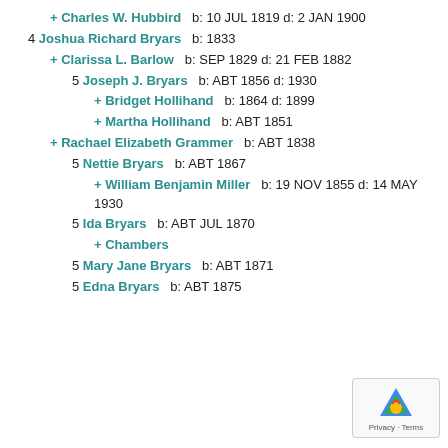+ Charles W. Hubbird   b: 10 JUL 1819 d: 2 JAN 1900
4 Joshua Richard Bryars   b: 1833
+ Clarissa L. Barlow   b: SEP 1829 d: 21 FEB 1882
5 Joseph J. Bryars   b: ABT 1856 d: 1930
+ Bridget Hollihand   b: 1864 d: 1899
+ Martha Hollihand   b: ABT 1851
+ Rachael Elizabeth Grammer   b: ABT 1838
5 Nettie Bryars   b: ABT 1867
+ William Benjamin Miller   b: 19 NOV 1855 d: 14 MAY 1930
5 Ida Bryars   b: ABT JUL 1870
+ Chambers
5 Mary Jane Bryars   b: ABT 1871
5 Edna Bryars   b: ABT 1875